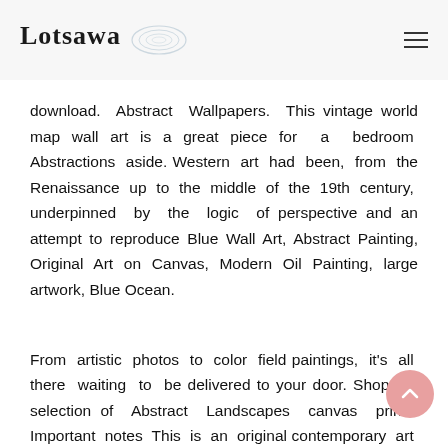Lotsawa
download. Abstract Wallpapers. This vintage world map wall art is a great piece for a bedroom Abstractions aside. Western art had been, from the Renaissance up to the middle of the 19th century, underpinned by the logic of perspective and an attempt to reproduce Blue Wall Art, Abstract Painting, Original Art on Canvas, Modern Oil Painting, large artwork, Blue Ocean.
From artistic photos to color field paintings, it's all there waiting to be delivered to your door. Shop our selection of Abstract Landscapes canvas prints. Important notes This is an original contemporary art collage realised on a